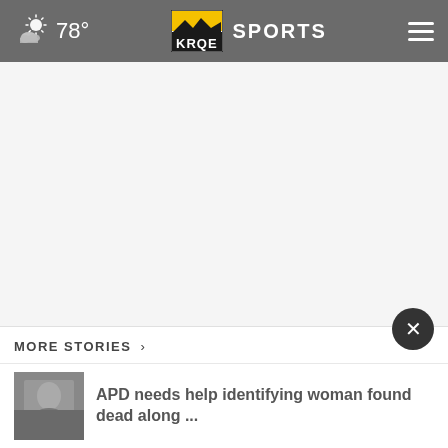78° KRQE SPORTS
[Figure (screenshot): White/light gray blank content area below the navigation header]
MORE STORIES ›
[Figure (photo): Thumbnail image of a woman, grayscale/muted tones]
APD needs help identifying woman found dead along ...